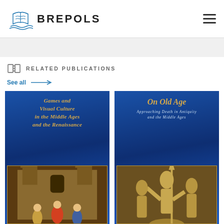[Figure (logo): Brepols publisher logo with ship/book icon and BREPOLS text]
RELATED PUBLICATIONS
See all →
[Figure (illustration): Book cover: Games and Visual Culture in the Middle Ages and the Renaissance — blue background with gold title and medieval illumination scene]
[Figure (illustration): Book cover: On Old Age — Approaching Death in Antiquity and the Middle Ages — blue background with gold title and relief sculpture scene]